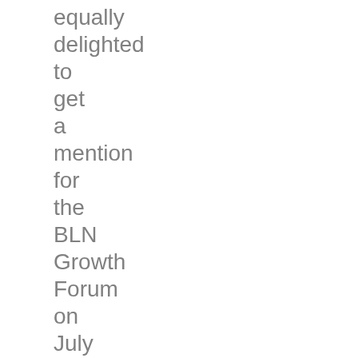equally delighted to get a mention for the BLN Growth Forum on July 15th. Martin has slightly